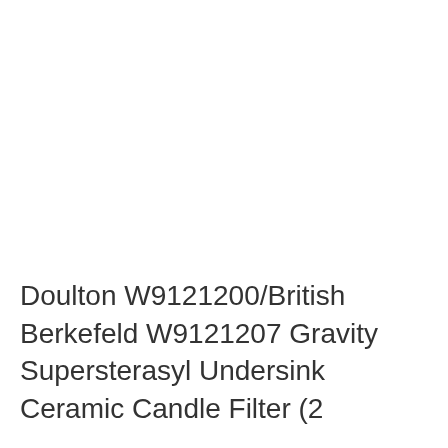Doulton W9121200/British Berkefeld W9121207 Gravity Supersterasyl Undersink Ceramic Candle Filter (2